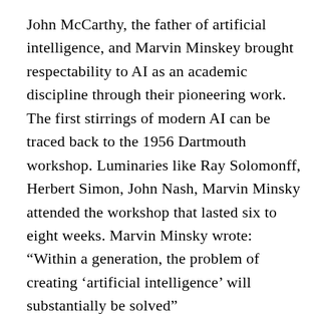John McCarthy, the father of artificial intelligence, and Marvin Minskey brought respectability to AI as an academic discipline through their pioneering work. The first stirrings of modern AI can be traced back to the 1956 Dartmouth workshop. Luminaries like Ray Solomonff, Herbert Simon, John Nash, Marvin Minsky attended the workshop that lasted six to eight weeks. Marvin Minsky wrote: “Within a generation, the problem of creating ‘artificial intelligence’ will substantially be solved”
Back then, AI was described as any task